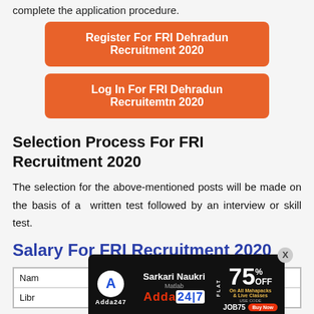complete the application procedure.
[Figure (other): Orange button: Register For FRI Dehradun Recruitment 2020]
[Figure (other): Orange button: Log In For FRI Dehradun Recruitemtn 2020]
Selection Process For FRI Recruitment 2020
The selection for the above-mentioned posts will be made on the basis of a  written test followed by an interview or skill test.
Salary For FRI Recruitment 2020
| Name of Post | Pay Scale |
| --- | --- |
| Library... |  |